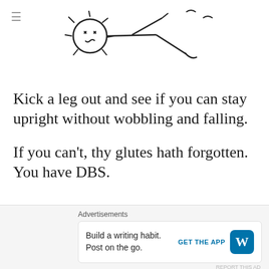[Figure (illustration): A rough hand-drawn sketch of a stick figure person with a sun-like head, arms outstretched, appearing to kick a leg out, with small birds in the background]
Kick a leg out and see if you can stay upright without wobbling and falling.
If you can't, thy glutes hath forgotten. You have DBS.
Also read: Why people slurp tea and why we hate it
Advertisements
Build a writing habit. Post on the go. GET THE APP